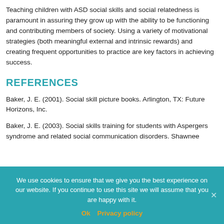Teaching children with ASD social skills and social relatedness is paramount in assuring they grow up with the ability to be functioning and contributing members of society. Using a variety of motivational strategies (both meaningful external and intrinsic rewards) and creating frequent opportunities to practice are key factors in achieving success.
REFERENCES
Baker, J. E. (2001). Social skill picture books. Arlington, TX: Future Horizons, Inc.
Baker, J. E. (2003). Social skills training for students with Aspergers syndrome and related social communication disorders. Shawnee
We use cookies to ensure that we give you the best experience on our website. If you continue to use this site we will assume that you are happy with it.
Ok   Privacy policy